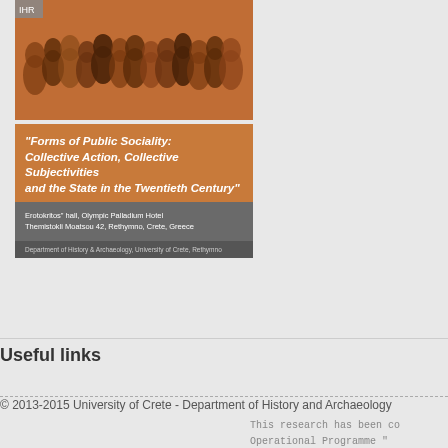[Figure (photo): Conference poster/flyer image with a sepia-toned crowd photo at the top, orange title band reading 'Forms of Public Sociality: Collective Action, Collective Subjectivities and the State in the Twentieth Century', grey venue info block with 'Erotokritos' hall, Olympic Palladium Hotel, Themistokli Moatsou 42, Rethymno, Crete, Greece', and dark footer with department name 'Department of History & Archaeology, University of Crete, Rethymno'.]
Useful links
© 2013-2015 University of Crete - Department of History and Archaeology
This research has been co Operational Programme " Funding Program: THALES